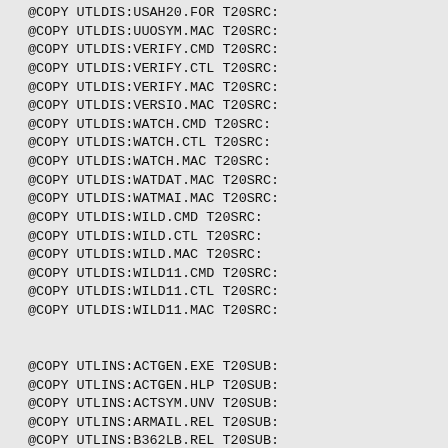@COPY UTLDIS:USAH20.FOR T20SRC:
@COPY UTLDIS:UUOSYM.MAC T20SRC:
@COPY UTLDIS:VERIFY.CMD T20SRC:
@COPY UTLDIS:VERIFY.CTL T20SRC:
@COPY UTLDIS:VERIFY.MAC T20SRC:
@COPY UTLDIS:VERSIO.MAC T20SRC:
@COPY UTLDIS:WATCH.CMD T20SRC:
@COPY UTLDIS:WATCH.CTL T20SRC:
@COPY UTLDIS:WATCH.MAC T20SRC:
@COPY UTLDIS:WATDAT.MAC T20SRC:
@COPY UTLDIS:WATMAI.MAC T20SRC:
@COPY UTLDIS:WILD.CMD T20SRC:
@COPY UTLDIS:WILD.CTL T20SRC:
@COPY UTLDIS:WILD.MAC T20SRC:
@COPY UTLDIS:WILD11.CMD T20SRC:
@COPY UTLDIS:WILD11.CTL T20SRC:
@COPY UTLDIS:WILD11.MAC T20SRC:


@COPY UTLINS:ACTGEN.EXE T20SUB:
@COPY UTLINS:ACTGEN.HLP T20SUB:
@COPY UTLINS:ACTSYM.UNV T20SUB:
@COPY UTLINS:ARMAIL.REL T20SUB:
@COPY UTLINS:B362LB.REL T20SUB:
@COPY UTLINS:BATCON.EXE T20SUB:
@COPY UTLINS:BLIS10.EXE T20SUB:
@COPY UTLINS:BLIS10.HLP T20SUB:
@COPY UTLINS:C.UNV T20SUB:
@COPY UTLINS:CDRIVE.EXE T20SUB:
@COPY UTLINS:CHECRD.EXE T20SUB: